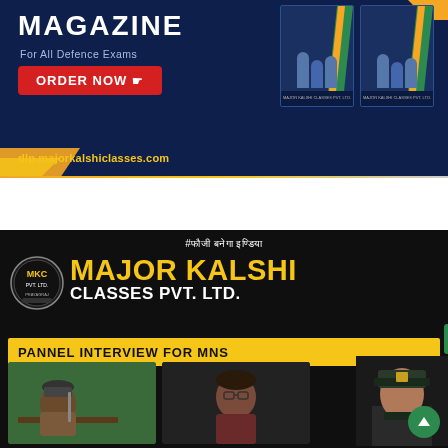[Figure (illustration): Major Kalshi Classes magazine advertisement banner on dark navy background. Shows 'MAGAZINE For All Defence Exams' text, a red ORDER NOW button with cursor icon, URL dlp.majorkalshiclasses.com in yellow, and two magazine cover thumbnails on the right with military figures.]
[Figure (illustration): Major Kalshi Classes Pvt. Ltd. promotional banner on black background. Shows hashtag #फौजी बनेगा इण्डिया, MKC logo, MAJOR KALSHI CLASSES PVT. LTD. title in yellow and white, PANNEL INTERVIEW FOR MNS yellow bar, two interview video screenshots (man with cap at table, woman with glasses), and a female military officer photo on right with green scroll-up button.]